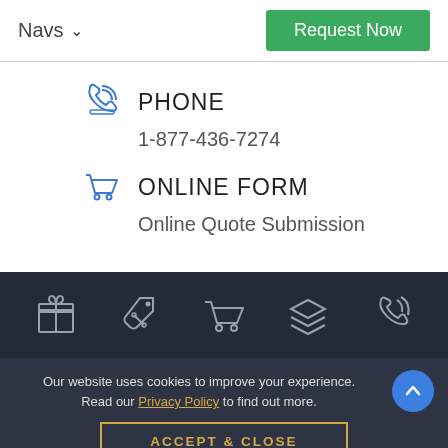Navs
Request Now
PHONE
1-877-436-7274
ONLINE FORM
Online Quote Submission
[Figure (infographic): Dark footer bar with five outline icons: gift box, percentage tag, shopping cart, stacked layers, phone with signal waves]
Our website uses cookies to improve your experience. Read our Privacy Policy to find out more.
ACCEPT & CLOSE